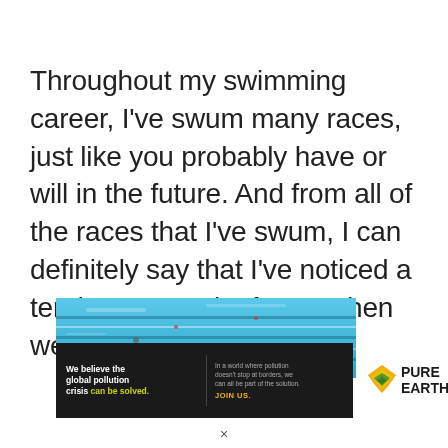Throughout my swimming career, I've swum many races, just like you probably have or will in the future. And from all of the races that I've swum, I can definitely say that I've noticed a tendency to swim faster when wearing a tech suit.
[Figure (photo): Advertisement banner showing a swimming pool lane photo at top, with a dark banner below reading 'We believe the global pollution crisis can be solved.' and 'In a world where pollution doesn't stop at borders, we can all be part of the solution. JOIN US.' alongside the Pure Earth logo.]
×